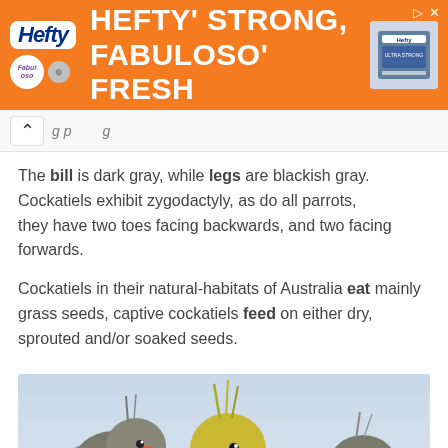[Figure (photo): Hefty and Fabuloso advertisement banner with orange background saying HEFTY' STRONG, FABULOSO' FRESH]
Navigation bar with back chevron and partial URL
The bill is dark gray, while legs are blackish gray. Cockatiels exhibit zygodactyly, as do all parrots, they have two toes facing backwards, and two facing forwards.
Cockatiels in their natural-habitats of Australia eat mainly grass seeds, captive cockatiels feed on either dry, sprouted and/or soaked seeds.
[Figure (photo): Three cockatiels close-up photograph. One in center has yellow head and orange cheek patches, the other two are gray with orange cheek patches. They appear to be interacting with each other against a blue-gray sky background.]